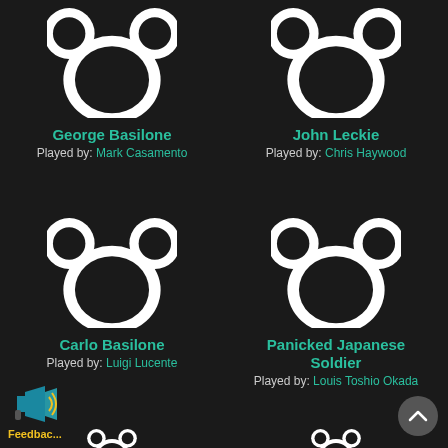[Figure (illustration): White Mickey Mouse silhouette placeholder avatar on dark background - George Basilone]
George Basilone
Played by: Mark Casamento
[Figure (illustration): White Mickey Mouse silhouette placeholder avatar on dark background - John Leckie]
John Leckie
Played by: Chris Haywood
[Figure (illustration): White Mickey Mouse silhouette placeholder avatar on dark background - Carlo Basilone]
Carlo Basilone
Played by: Luigi Lucente
[Figure (illustration): White Mickey Mouse silhouette placeholder avatar on dark background - Panicked Japanese Soldier]
Panicked Japanese Soldier
Played by: Louis Toshio Okada
[Figure (illustration): Megaphone/announcement icon with sound waves]
Feedbac...
[Figure (illustration): Scroll to top arrow button]